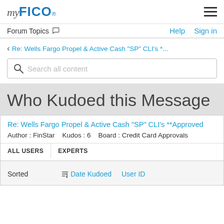myFICO
Forum Topics   Help   Sign in
< Re: Wells Fargo Propel & Active Cash "SP" CLI's *...
Search all content
Who Kudoed this Message
Re: Wells Fargo Propel & Active Cash "SP" CLI's **Approved
Author : FinStar   Kudos : 6   Board : Credit Card Approvals
ALL USERS   EXPERTS
Sorted   Date Kudoed   User ID